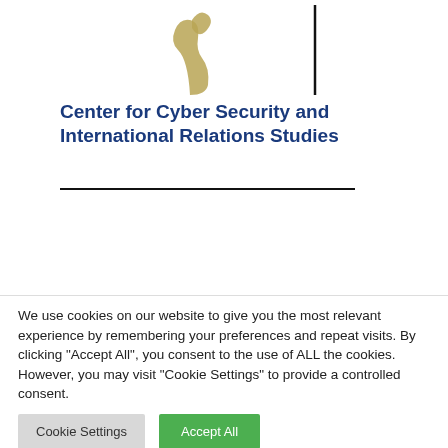[Figure (logo): Partial view of a logo with a golden/olive colored animal figure (cat-like) on white background with a vertical black line on the right side]
Center for Cyber Security and International Relations Studies
[Figure (photo): A black rectangular banner/image bar, partially obscuring content below it. Below the black bar is a partial view of a circular blue image/logo element.]
We use cookies on our website to give you the most relevant experience by remembering your preferences and repeat visits. By clicking "Accept All", you consent to the use of ALL the cookies. However, you may visit "Cookie Settings" to provide a controlled consent.
Cookie Settings
Accept All